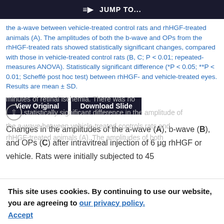JUMP TO...
the a-wave between vehicle-treated control rats and rhHGF-treated animals (A). The amplitudes of both the b-wave and OPs from the rhHGF-treated rats showed statistically significant changes, compared with those in vehicle-treated control rats (B, C; P < 0.01; repeated-measures ANOVA). Statistically significant difference (*P < 0.05; **P < 0.01; Scheffé post hoc test) between rhHGF- and vehicle-treated eyes. Results are mean ± SD.
View Original | Download Slide
Changes in the amplitudes of the a-wave (A), b-wave (B), and OPs (C) after intravitreal injection of 6 μg rhHGF or vehicle. Rats were initially subjected to 45 minutes of retinal ischemia. There was no statistically significant difference in the amplitude of the a-wave between vehicle-treated controls rats and rhHGF-treated animals (A). The amplitudes of both
This site uses cookies. By continuing to use our website, you are agreeing to our privacy policy. Accept